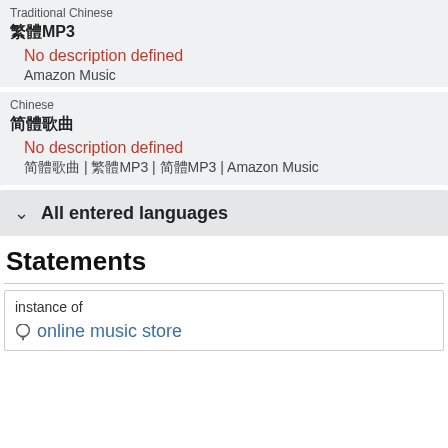Traditional Chinese
繁體MP3
No description defined
Amazon Music
Chinese
簡體歌曲
No description defined
簡體歌曲 | 繁體MP3 | 簡體MP3 | Amazon Music
All entered languages
Statements
instance of
online music store